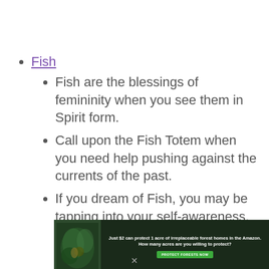Fish
Fish are the blessings of femininity when you see them in Spirit form.
Call upon the Fish Totem when you need help pushing against the currents of the past.
If you dream of Fish, you may be tapping into your self-awareness.
[Figure (other): Advertisement banner: Just $2 can protect 1 acre of irreplaceable forest homes in the Amazon. How many acres are you willing to protect? PROTECT FORESTS NOW button. Dark green background with forest/animal imagery.]